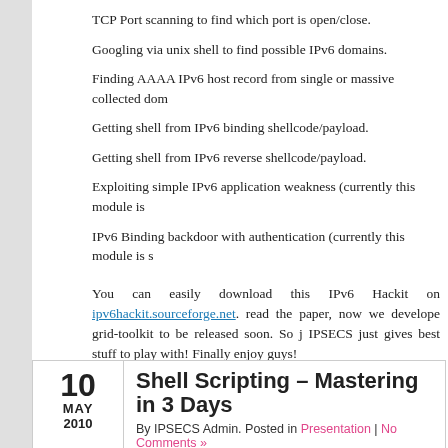TCP Port scanning to find which port is open/close.
Googling via unix shell to find possible IPv6 domains.
Finding AAAA IPv6 host record from single or massive collected dom...
Getting shell from IPv6 binding shellcode/payload.
Getting shell from IPv6 reverse shellcode/payload.
Exploiting simple IPv6 application weakness (currently this module is...
IPv6 Binding backdoor with authentication (currently this module is s...
You can easily download this IPv6 Hackit on ipv6hackit.sourceforge.net. ...read the paper, now we develope grid-toolkit to be released soon. So j...IPSECS just gives best stuff to play with! Finally enjoy guys!
1 Comment »
Shell Scripting – Mastering in 3 Days
By IPSECS Admin. Posted in Presentation | No Comments »
Understanding shell scripting is one step to make efficient your work with lin...to work with complex shell command every day and type it repetively. With...all of that command manually and wasting our time. This paper has...